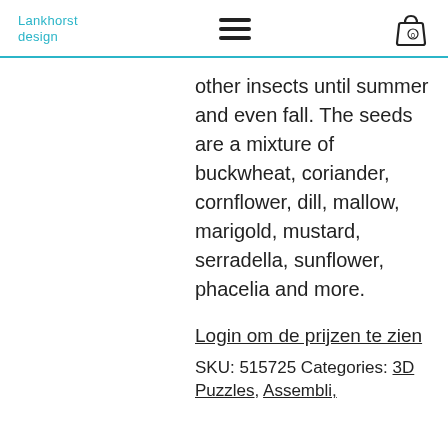Lankhorst design
other insects until summer and even fall. The seeds are a mixture of buckwheat, coriander, cornflower, dill, mallow, marigold, mustard, serradella, sunflower, phacelia and more.
Login om de prijzen te zien
SKU: 515725 Categories: 3D Puzzles, Assembli,